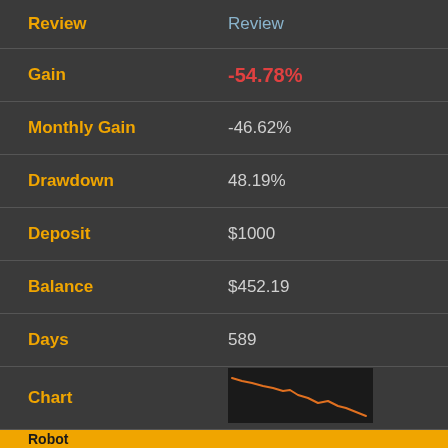| Field | Value |
| --- | --- |
| Review | Review |
| Gain | -54.78% |
| Monthly Gain | -46.62% |
| Drawdown | 48.19% |
| Deposit | $1000 |
| Balance | $452.19 |
| Days | 589 |
| Chart | [line chart thumbnail] |
| Rank | 18 |
| Robot | [robot image] |